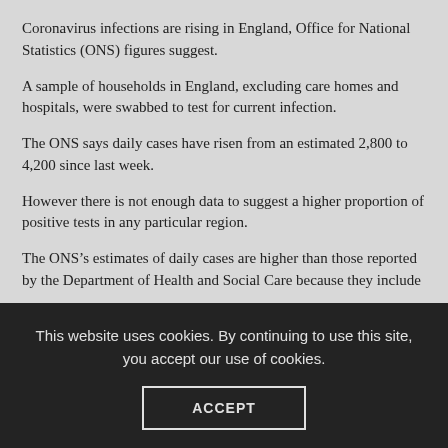Coronavirus infections are rising in England, Office for National Statistics (ONS) figures suggest.
A sample of households in England, excluding care homes and hospitals, were swabbed to test for current infection.
The ONS says daily cases have risen from an estimated 2,800 to 4,200 since last week.
However there is not enough data to suggest a higher proportion of positive tests in any particular region.
The ONS’s estimates of daily cases are higher than those reported by the Department of Health and Social Care because they include
This website uses cookies. By continuing to use this site, you accept our use of cookies.